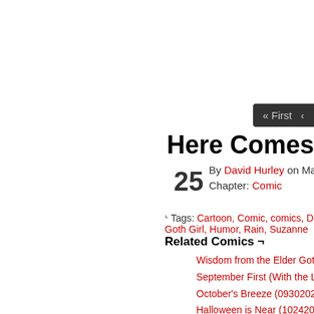« First  <
Here Comes the Rain A
By David Hurley on March 25, 201
Chapter: Comic
25
↵ Tags: Cartoon, Comic, comics, David Hu..., Goth Girl, Humor, Rain, Suzanne
Related Comics ¬
Wisdom from the Elder Goth M...
September First (With the Lad...
October's Breeze (09302020)
Halloween is Near (10242014)
Lullaby: Inspired by the Song L...